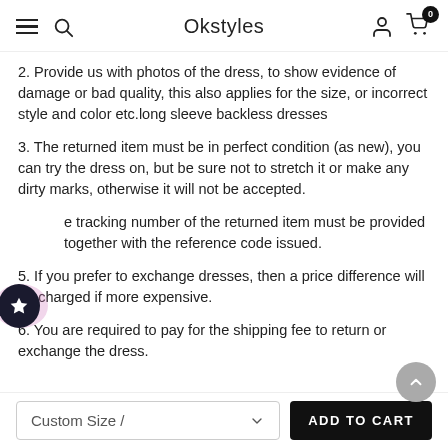Okstyles
2. Provide us with photos of the dress, to show evidence of damage or bad quality, this also applies for the size, or incorrect style and color etc.long sleeve backless dresses
3. The returned item must be in perfect condition (as new), you can try the dress on, but be sure not to stretch it or make any dirty marks, otherwise it will not be accepted.
4. The tracking number of the returned item must be provided together with the reference code issued.
5. If you prefer to exchange dresses, then a price difference will be charged if more expensive.
6. You are required to pay for the shipping fee to return or exchange the dress.